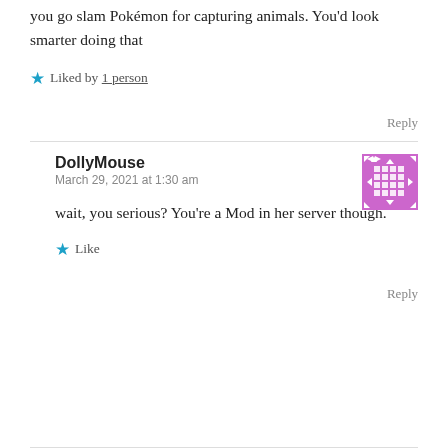you go slam Pokémon for capturing animals. You'd look smarter doing that
Liked by 1 person
Reply
DollyMouse
March 29, 2021 at 1:30 am
wait, you serious? You're a Mod in her server though.
Like
Reply